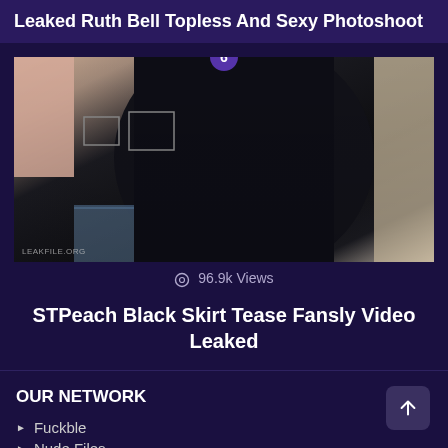Leaked Ruth Bell Topless And Sexy Photoshoot
[Figure (photo): A dark photo showing a person in a black top/turtleneck, with a room visible in the background. A badge showing '6' appears at the top center. A watermark 'LEAKFILE.ORG' appears at the bottom left.]
96.9k Views
STPeach Black Skirt Tease Fansly Video Leaked
OUR NETWORK
Fuckble
Nude Files